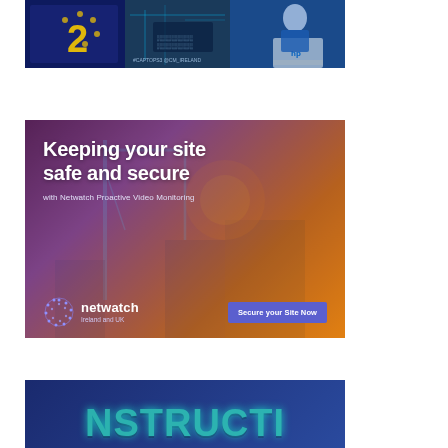[Figure (photo): Collage of promotional images including a blue EU-style card with number 2, a person holding a laptop near a circuit board graphic, and other tech/event imagery]
[Figure (infographic): Netwatch Proactive Video Monitoring advertisement. Dark purple/orange construction site background with cranes. Text: 'Keeping your site safe and secure' with 'with Netwatch Proactive Video Monitoring'. Netwatch logo (Ireland and UK) and 'Secure your Site Now' button.]
[Figure (photo): Partial view of a banner/logo with large teal/cyan letters spelling 'NSTRUCTI...' on a dark navy blue gradient background — appears to be part of a construction-related brand or publication.]